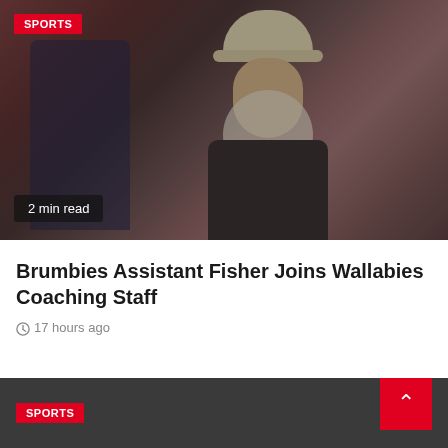[Figure (photo): A man with long grey hair wearing a bucket hat and dark sports jacket, standing in front of blurred stadium bleachers. Another figure in dark clothing is visible in the background to the left.]
SPORTS
2 min read
Brumbies Assistant Fisher Joins Wallabies Coaching Staff
17 hours ago
SPORTS